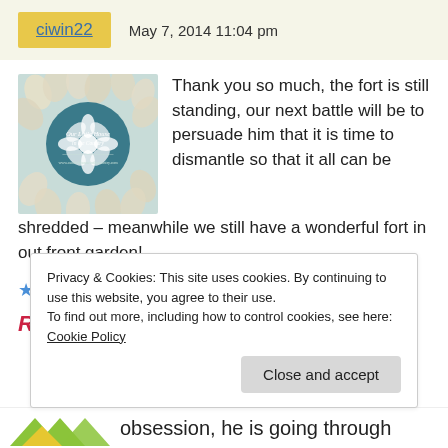ciwin22   May 7, 2014 11:04 pm
[Figure (illustration): Avatar image with floral design and circular text 'Our Little House in the Country']
Thank you so much, the fort is still standing, our next battle will be to persuade him that it is time to dismantle so that it all can be shredded – meanwhile we still have a wonderful fort in out front garden!
★ Like
Reply
Privacy & Cookies: This site uses cookies. By continuing to use this website, you agree to their use.
To find out more, including how to control cookies, see here: Cookie Policy
Close and accept
obsession, he is going through